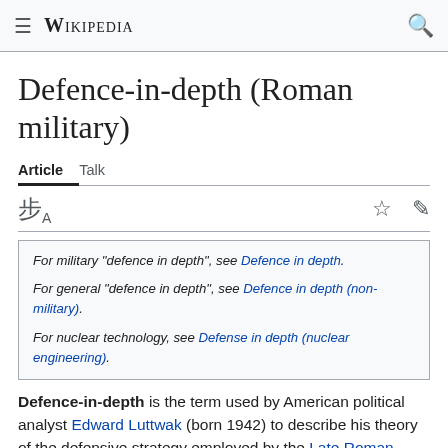≡ WIKIPEDIA 🔍
Defence-in-depth (Roman military)
Article  Talk
For military "defence in depth", see Defence in depth.
For general "defence in depth", see Defence in depth (non-military).
For nuclear technology, see Defense in depth (nuclear engineering).
Defence-in-depth is the term used by American political analyst Edward Luttwak (born 1942) to describe his theory of the defensive strategy employed by the Late Roman army in the third and fourth centuries AD.